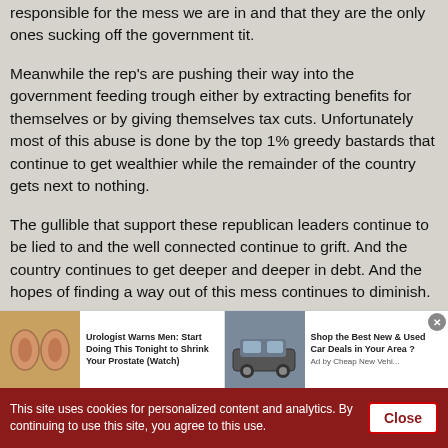responsible for the mess we are in and that they are the only ones sucking off the government tit.
Meanwhile the rep's are pushing their way into the government feeding trough either by extracting benefits for themselves or by giving themselves tax cuts. Unfortunately most of this abuse is done by the top 1% greedy bastards that continue to get wealthier while the remainder of the country gets next to nothing.
The gullible that support these republican leaders continue to be lied to and the well connected continue to grift. And the country continues to get deeper and deeper in debt. And the hopes of finding a way out of this mess continues to diminish.
[Figure (infographic): Advertisement bar with two ads: left ad shows urologist warning about prostate with an image of kidneys, right ad shows car deals with a car image. Close button (x) in top right corner.]
This site uses cookies for personalized content and analytics. By continuing to use this site, you agree to this use. Close